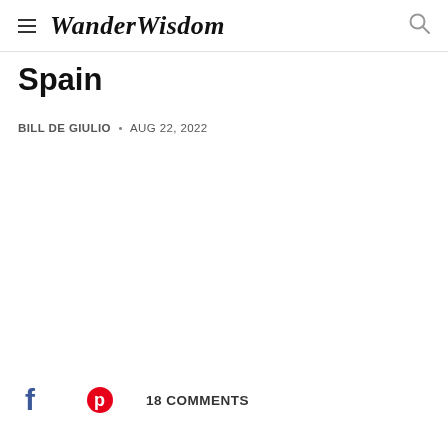WanderWisdom
Spain
BILL DE GIULIO • AUG 22, 2022
18 COMMENTS